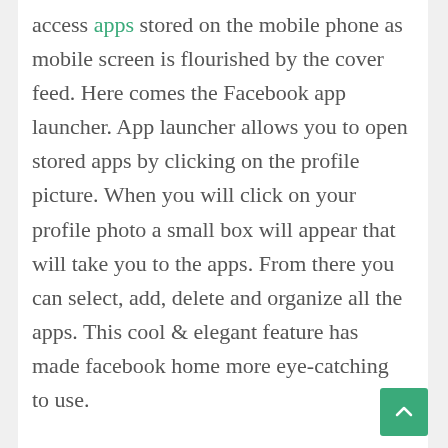access apps stored on the mobile phone as mobile screen is flourished by the cover feed. Here comes the Facebook app launcher. App launcher allows you to open stored apps by clicking on the profile picture. When you will click on your profile photo a small box will appear that will take you to the apps. From there you can select, add, delete and organize all the apps. This cool & elegant feature has made facebook home more eye-catching to use.
These three prominent features of facebook home app are very smart & exciting. With facebook home android app you would be able to mingle up with your friends 24/7. This can be